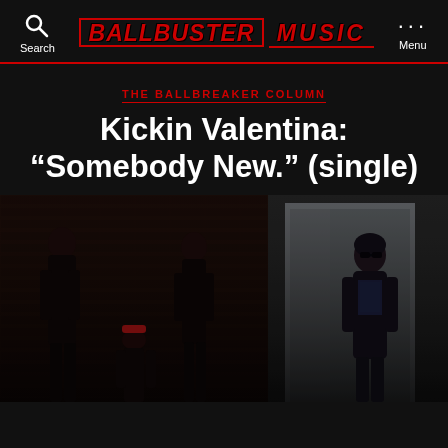BallBuster Music — Search | Logo | Menu
THE BALLBREAKER COLUMN
Kickin Valentina: “Somebody New.” (single)
[Figure (photo): Band photo of Kickin Valentina — three band members on the left side posed against a brick wall in dark lighting, one member on the right standing in front of a weathered metal/painted door]